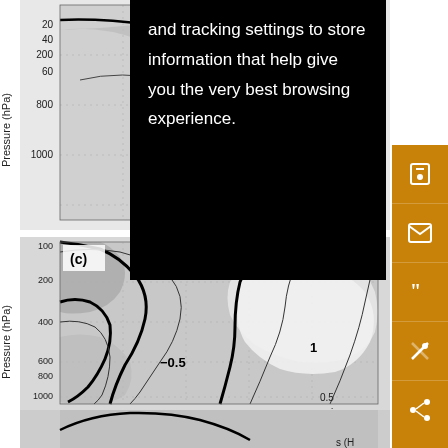[Figure (continuous-plot): Contour plot panel (top): pressure vs. latitude showing negative contour region labeled -0.5, with thick bold zero contour line and grey shading. Y-axis shows pressure levels from 200 to 1000 hPa.]
and tracking settings to store information that help give you the very best browsing experience.
[Figure (continuous-plot): Contour plot panel (c): pressure vs. latitude showing contours with values -0.5 and 1 labeled. Thick bold zero contour separating positive (white) and negative (grey) regions. Y-axis shows pressure from 100 to 1000 hPa.]
0.5
0